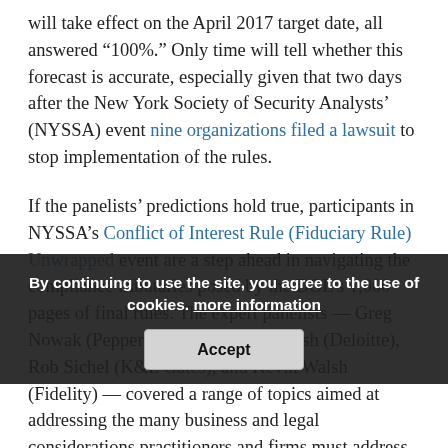will take effect on the April 2017 target date, all answered “100%.” Only time will tell whether this forecast is accurate, especially given that two days after the New York Society of Security Analysts’ (NYSSA) event nine organizations filed a lawsuit to stop implementation of the rules.
If the panelists’ predictions hold true, participants in NYSSA’s Conflict of Interest Rule (Fiduciary Rule) Unwrapped event are a step ahead in navigating the compliance tributaries posed by the DOL’s 1,000 pages of final rules. The expert panelists — Greg Nowak (Pepper Hamilton), Tom Marsh (Deloitte), Rob Sichel (K&L Gates), and Kevin Walsh (Fidelity) — covered a range of topics aimed at addressing the many business and legal considerations practitioners and firms must address to comply with the rules.
By continuing to use the site, you agree to the use of cookies. more information
Accept